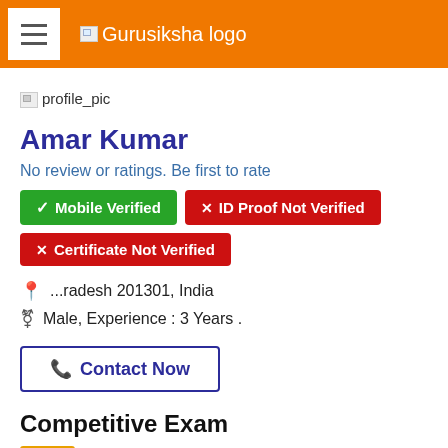Gurusiksha logo
[Figure (photo): Profile picture placeholder image]
Amar Kumar
No review or ratings. Be first to rate
✓ Mobile Verified
✕ ID Proof Not Verified
✕ Certificate Not Verified
...radesh 201301, India
Male, Experience : 3 Years .
Contact Now
Competitive Exam
NTSE